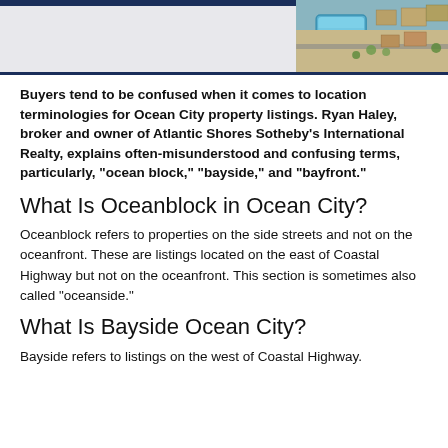[Figure (photo): Header image with a dark navy blue horizontal bar on the left and an aerial photo of a coastal property with a pool on the right]
Buyers tend to be confused when it comes to location terminologies for Ocean City property listings. Ryan Haley, broker and owner of Atlantic Shores Sotheby's International Realty, explains often-misunderstood and confusing terms, particularly, “ocean block,” “bayside,” and “bayfront.”
What Is Oceanblock in Ocean City?
Oceanblock refers to properties on the side streets and not on the oceanfront. These are listings located on the east of Coastal Highway but not on the oceanfront. This section is sometimes also called “oceanside.”
What Is Bayside Ocean City?
Bayside refers to listings on the west of Coastal Highway.